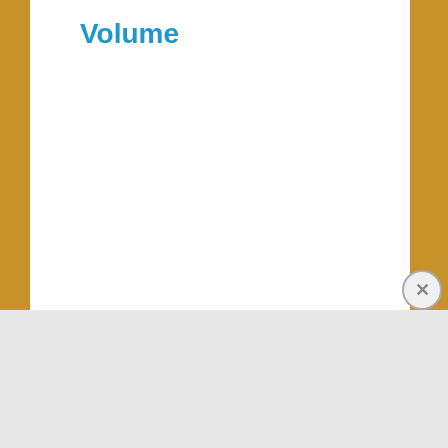Volume
[Figure (other): DuckDuckGo advertisement banner with orange background showing 'Search, browse, and email with more privacy. All in One Free App' text and a phone with DuckDuckGo logo]
Advertisements